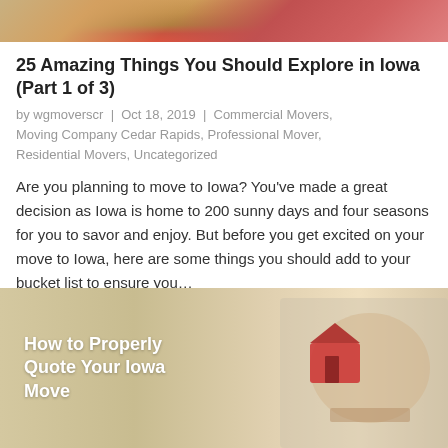[Figure (photo): Cropped top portion of an article header image, showing colorful outdoor scene with orange and red tones]
25 Amazing Things You Should Explore in Iowa (Part 1 of 3)
by wgmoverscr | Oct 18, 2019 | Commercial Movers, Moving Company Cedar Rapids, Professional Mover, Residential Movers, Uncategorized
Are you planning to move to Iowa? You've made a great decision as Iowa is home to 200 sunny days and four seasons for you to savor and enjoy. But before you get excited on your move to Iowa, here are some things you should add to your bucket list to ensure you…
[Figure (photo): Article header image showing hands holding a small red house model on a beige background, with white bold text overlay reading 'How to Properly Quote Your Iowa Move']